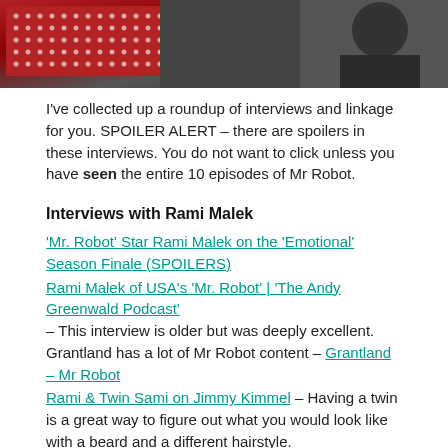[Figure (photo): Photo of a person in front of a red dotted background, partially cropped]
I've collected up a roundup of interviews and linkage for you. SPOILER ALERT – there are spoilers in these interviews. You do not want to click unless you have seen the entire 10 episodes of Mr Robot.
Interviews with Rami Malek
'Mr. Robot' Star Rami Malek on the 'Emotional' Season Finale (SPOILERS)
Rami Malek of USA's 'Mr. Robot' | 'The Andy Greenwald Podcast' – This interview is older but was deeply excellent. Grantland has a lot of Mr Robot content – Grantland – Mr Robot
Rami & Twin Sami on Jimmy Kimmel – Having a twin is a great way to figure out what you would look like with a beard and a different hairstyle.
Interviews with Christian Slater –
Christian Slater weighs in on Mr. Robot twist and season finale
Mr. Robot Speaks: Christian Slater on 'Mr. Robot's' Shocking, Roanoke-Delayed Finale and Season 2